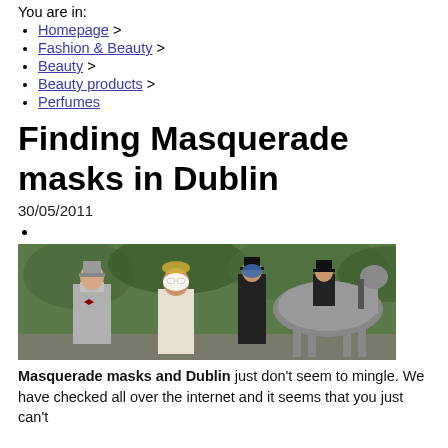You are in:
Homepage >
Fashion & Beauty >
Beauty >
Beauty products >
Perfumes
Finding Masquerade masks in Dublin
30/05/2011
[Figure (photo): A masked masquerade scene with two people in formal attire, a white mask, and a horse in the background]
Masquerade masks and Dublin just don't seem to mingle. We have checked all over the internet and it seems that you just can't